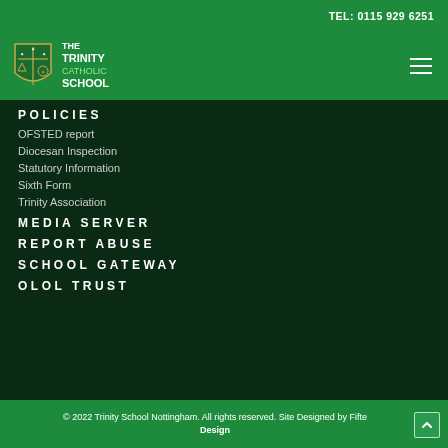TEL: 0115 929 6251
[Figure (logo): The Trinity Catholic School shield logo with school name]
POLICIES
OFSTED report
Diocesan Inspection
Statutory Information
Sixth Form
Trinity Association
MEDIA SERVER
REPORT ABUSE
SCHOOL GATEWAY
OLOL TRUST
© 2022 Trinity School Nottingham. All rights reserved. Site Designed by Fifte Design